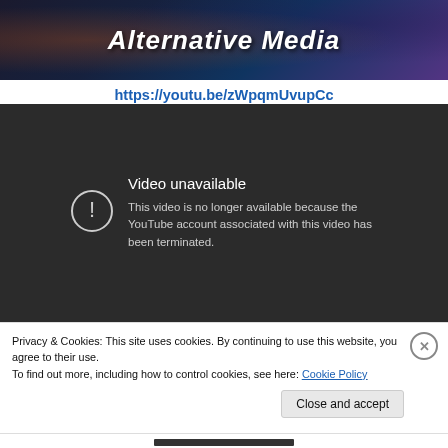[Figure (screenshot): Banner image with fantasy art background and bold italic white text reading 'Alternative Media']
https://youtu.be/zWpqmUvupCc
[Figure (screenshot): YouTube video player showing error: 'Video unavailable — This video is no longer available because the YouTube account associated with this video has been terminated.']
Privacy & Cookies: This site uses cookies. By continuing to use this website, you agree to their use.
To find out more, including how to control cookies, see here: Cookie Policy
Close and accept